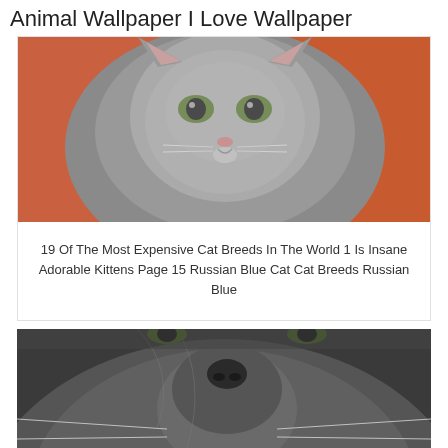Animal Wallpaper I Love Wallpaper
[Figure (photo): Close-up photo of a Russian Blue cat with green eyes, gray fur, sitting on an orange/red background, looking directly at the camera]
19 Of The Most Expensive Cat Breeds In The World 1 Is Insane Adorable Kittens Page 15 Russian Blue Cat Cat Breeds Russian Blue
[Figure (photo): Close-up macro photo of a Russian Blue cat face from below, showing dark gray fur, whiskers, green eyes, against a dark gray background]